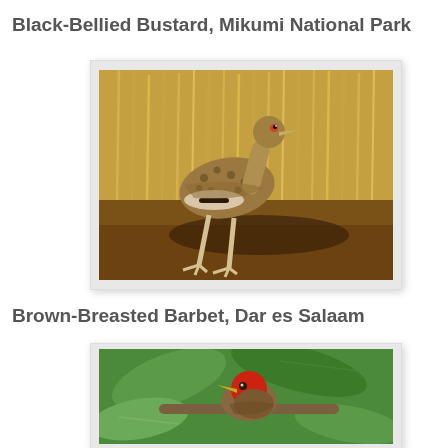Black-Bellied Bustard, Mikumi National Park
[Figure (photo): A Black-Bellied Bustard bird standing on brown dirt ground with dry golden grass/reeds in the background at Mikumi National Park. The bird has a long neck, spotted brown plumage, and long pale legs.]
Brown-Breasted Barbet, Dar es Salaam
[Figure (photo): A Brown-Breasted Barbet bird with a vivid red head perched on a branch among green tropical leaves in Dar es Salaam.]